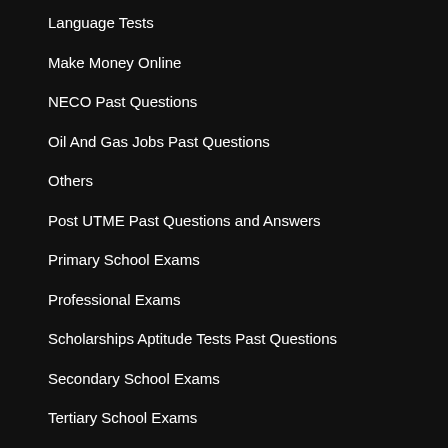Language Tests
Make Money Online
NECO Past Questions
Oil And Gas Jobs Past Questions
Others
Post UTME Past Questions and Answers
Primary School Exams
Professional Exams
Scholarships Aptitude Tests Past Questions
Secondary School Exams
Tertiary School Exams
WAEC Past Questions And Answers
QUICK LINKS